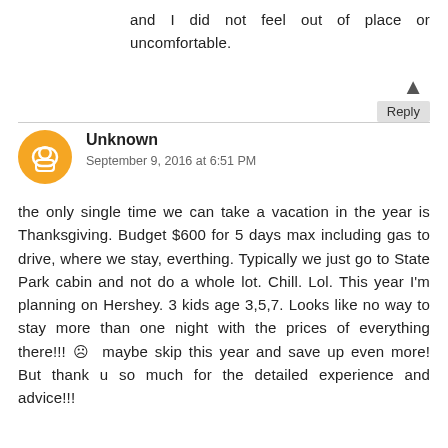and I did not feel out of place or uncomfortable.
Unknown
September 9, 2016 at 6:51 PM
the only single time we can take a vacation in the year is Thanksgiving. Budget $600 for 5 days max including gas to drive, where we stay, everthing. Typically we just go to State Park cabin and not do a whole lot. Chill. Lol. This year I'm planning on Hershey. 3 kids age 3,5,7. Looks like no way to stay more than one night with the prices of everything there!!! ☹ maybe skip this year and save up even more! But thank u so much for the detailed experience and advice!!!